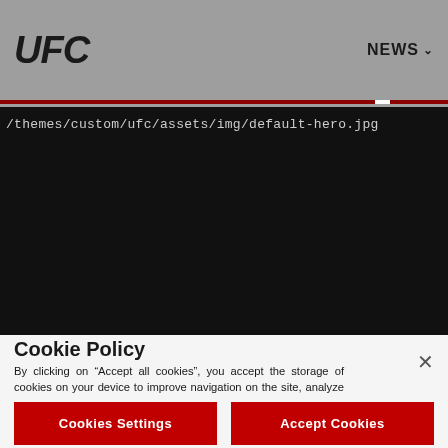UFC  NEWS
[Figure (screenshot): UFC website header with gray background, UFC logo on left, NEWS navigation on right, red progress/separator lines, and a black hero image area showing a broken image path: /themes/custom/ufc/assets/img/default-hero.jpg]
Cookie Policy
By clicking on "Accept all cookies", you accept the storage of cookies on your device to improve navigation on the site, analyze its use and contribute to our marketing efforts. Cookie Policy
Cookies Settings
Accept Cookies